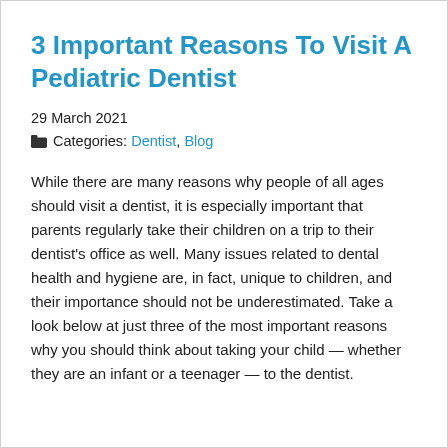3 Important Reasons To Visit A Pediatric Dentist
29 March 2021
📁 Categories: Dentist, Blog
While there are many reasons why people of all ages should visit a dentist, it is especially important that parents regularly take their children on a trip to their dentist's office as well. Many issues related to dental health and hygiene are, in fact, unique to children, and their importance should not be underestimated. Take a look below at just three of the most important reasons why you should think about taking your child — whether they are an infant or a teenager — to the dentist.